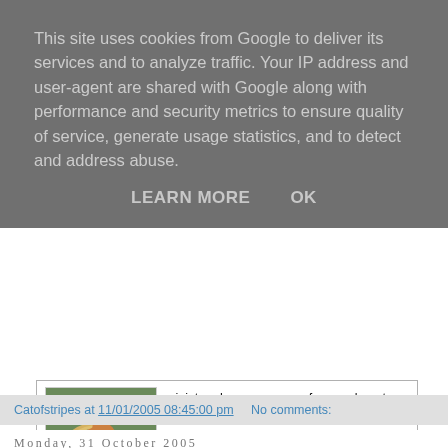This site uses cookies from Google to deliver its services and to analyze traffic. Your IP address and user-agent are shared with Google along with performance and security metrics to ensure quality of service, generate usage statistics, and to detect and address abuse.
LEARN MORE    OK
[Figure (photo): Photo of a miniature horse (chestnut/palomino) facing the camera with a long flowing mane, standing in front of a fence with green trees in the background]
miniature horses, renown for your beauty and desired by many. Full of grace, you are a beautiful and very special animal, with a long, flowing mane that blows in the breeze.
You were almost a: Lamb or a Bunny
You are least like a: Frog or a Chipmunk
The Cute Animals Quiz
Catofstripes at 11/01/2005 08:45:00 pm    No comments:
Monday, 31 October 2005